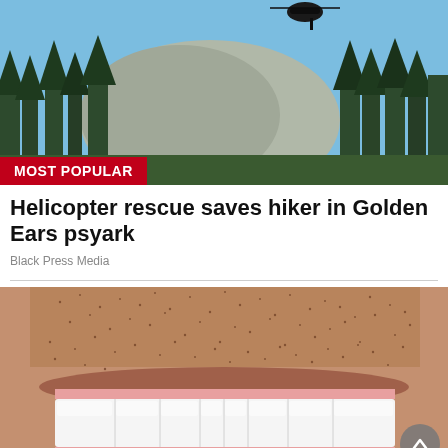[Figure (photo): Outdoor scene with forest, mountains and blue sky; a dark object (helicopter) visible at top center]
MOST POPULAR
Helicopter rescue saves hiker in Golden Ears psyark
Black Press Media
[Figure (photo): Close-up of a man's smiling face showing white teeth and beard stubble]
[Figure (other): Advertisement for Big Valley Heating & Air Conditioning. Address: 11868 216 St, Maple Ridge. Phone: 604-467-6474. Amana logo.]